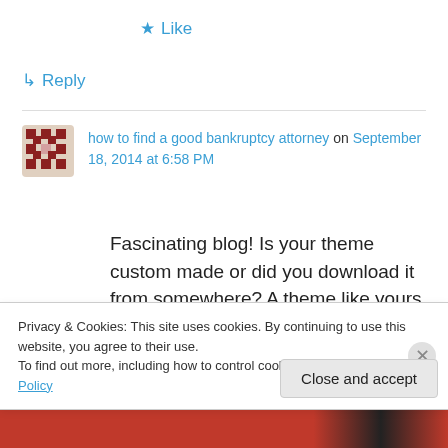★ Like
↳ Reply
how to find a good bankruptcy attorney on September 18, 2014 at 6:58 PM
Fascinating blog! Is your theme custom made or did you download it from somewhere? A theme like yours with a few simple adjustements would really make my blog jump out. Please let me
Privacy & Cookies: This site uses cookies. By continuing to use this website, you agree to their use.
To find out more, including how to control cookies, see here: Cookie Policy
Close and accept